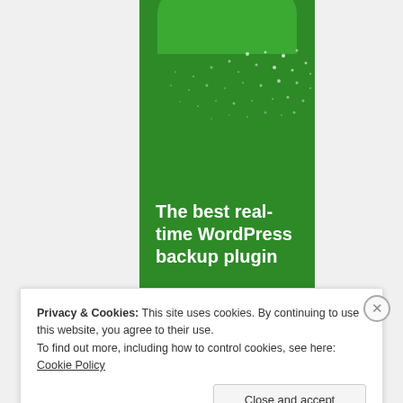[Figure (illustration): Green WordPress backup plugin advertisement banner with white dot pattern decoration and bold white text reading 'The best real-time WordPress backup plugin']
Privacy & Cookies: This site uses cookies. By continuing to use this website, you agree to their use.
To find out more, including how to control cookies, see here: Cookie Policy
Close and accept